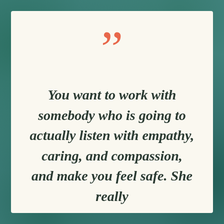[Figure (illustration): Decorative background with teal/green tropical foliage pattern behind a cream-colored card]
““
You want to work with somebody who is going to actually listen with empathy, caring, and compassion, and make you feel safe. She really